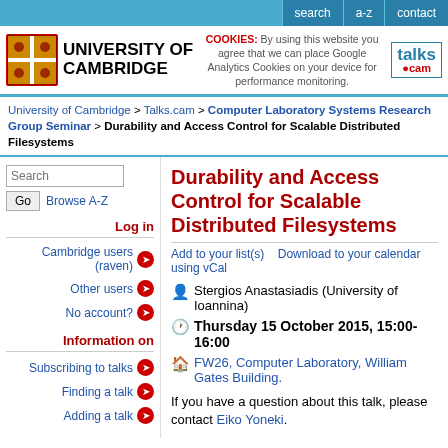search  a-z  contact
[Figure (logo): University of Cambridge logo with shield and text, cookie notice, and talks.cam logo]
University of Cambridge > Talks.cam > Computer Laboratory Systems Research Group Seminar > Durability and Access Control for Scalable Distributed Filesystems
Durability and Access Control for Scalable Distributed Filesystems
Add to your list(s)    Download to your calendar using vCal
Stergios Anastasiadis (University of Ioannina)
Thursday 15 October 2015, 15:00-16:00
FW26, Computer Laboratory, William Gates Building.
If you have a question about this talk, please contact Eiko Yoneki.
Log in
Cambridge users (raven)
Other users
No account?
Information on
Subscribing to talks
Finding a talk
Adding a talk